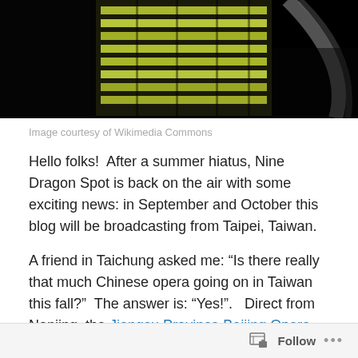[Figure (photo): Nighttime photo of an illuminated modern building (tall with green/yellow lit windows) against a dark sky, with what appears to be a curved architectural element on the right side.]
Image courtesy of Wikimedia Commons
Hello folks!  After a summer hiatus, Nine Dragon Spot is back on the air with some exciting news: in September and October this blog will be broadcasting from Taipei, Taiwan.
A friend in Taichung asked me: “Is there really that much Chinese opera going on in Taiwan this fall?”  The answer is: “Yes!”.   Direct from Nanjing, the Jiangsu Province Beijing Opera Theater will give daily performances, September 10-15 in Taipei’s Zhongshan Hall.  Their program is much too varied and interesting to be